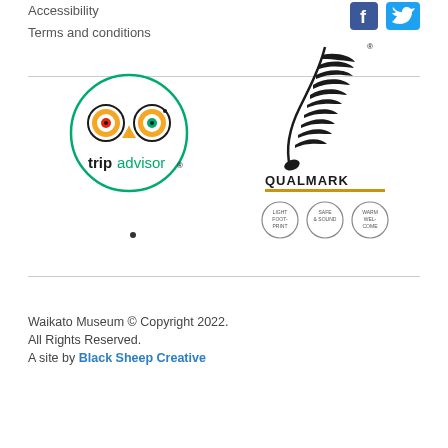Accessibility
Terms and conditions
[Figure (logo): Facebook and Twitter social media icons in blue]
[Figure (logo): TripAdvisor logo with owl icon in a green circle]
[Figure (logo): Qualmark Gold certification logo with silver fern and three badge icons (Light Footprint, Safe & Sound, Warm Welcome)]
Waikato Museum © Copyright 2022.
All Rights Reserved.
A site by Black Sheep Creative